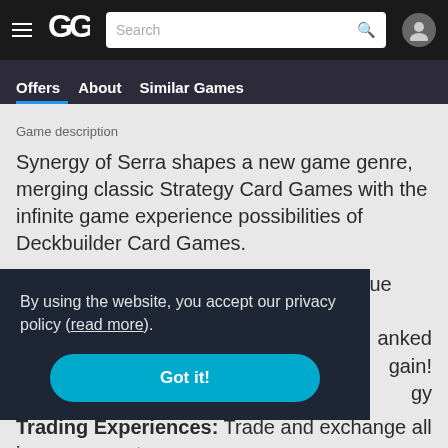GG — Search bar — User icon
Offers | About | Similar Games
Game description
Synergy of Serra shapes a new game genre, merging classic Strategy Card Games with the infinite game experience possibilities of Deckbuilder Card Games.
Play-to-Earn: Start for free with 90 unique cards, full access
By using the website, you accept our privacy policy (read more).
Got it!
Trading Experiences: Trade and exchange all in-game assets